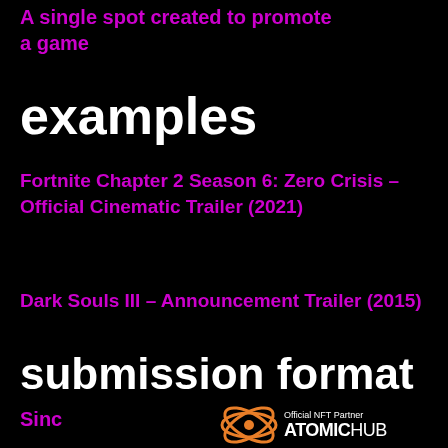A single spot created to promote a game
examples
Fortnite Chapter 2 Season 6: Zero Crisis – Official Cinematic Trailer (2021)
Dark Souls III – Announcement Trailer (2015)
submission format
Sinc
[Figure (logo): AtomicHub logo with text 'Official NFT Partner' and 'ATOMICHUB']